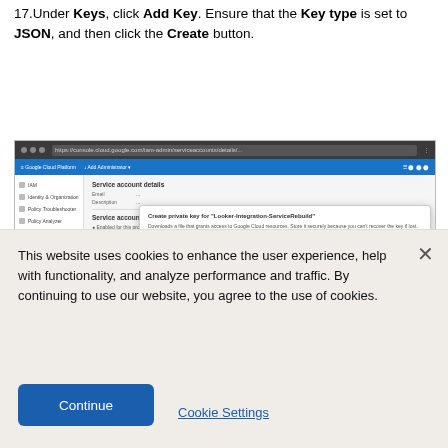17. Under Keys, click Add Key. Ensure that the Key type is set to JSON, and then click the Create button.
[Figure (screenshot): Google Cloud Platform screenshot showing Service Account details page with a dialog box open to create a private key. The dialog shows Key type options with JSON selected and a Create button.]
This website uses cookies to enhance the user experience, help with functionality, and analyze performance and traffic. By continuing to use our website, you agree to the use of cookies.